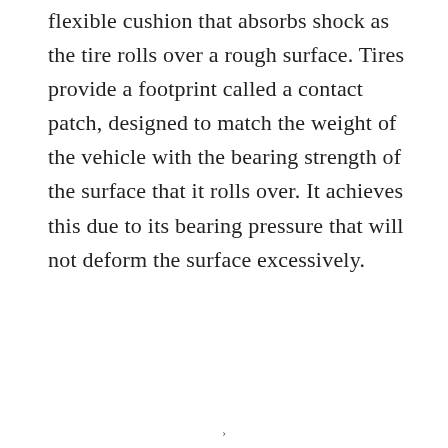flexible cushion that absorbs shock as the tire rolls over a rough surface. Tires provide a footprint called a contact patch, designed to match the weight of the vehicle with the bearing strength of the surface that it rolls over. It achieves this due to its bearing pressure that will not deform the surface excessively.
›